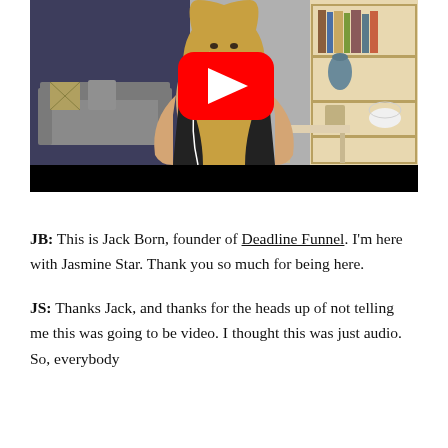[Figure (screenshot): YouTube video thumbnail showing a smiling blonde woman wearing earbuds and a black sleeveless top, seated in a room with a sofa, bookshelves, and decor. A red YouTube play button overlay is centered on the image. The bottom portion of the video player shows a black control bar.]
JB: This is Jack Born, founder of Deadline Funnel. I'm here with Jasmine Star. Thank you so much for being here.
JS: Thanks Jack, and thanks for the heads up of not telling me this was going to be video. I thought this was just audio. So, everybody